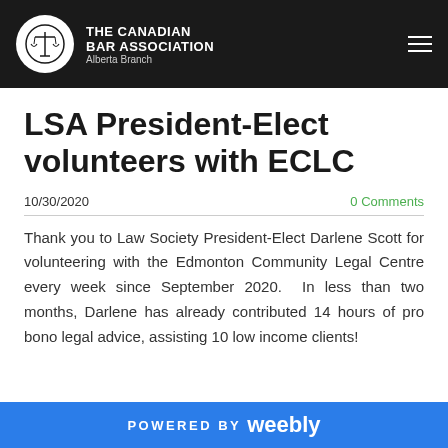THE CANADIAN BAR ASSOCIATION Alberta Branch
LSA President-Elect volunteers with ECLC
10/30/2020   0 Comments
Thank you to Law Society President-Elect Darlene Scott for volunteering with the Edmonton Community Legal Centre every week since September 2020.  In less than two months, Darlene has already contributed 14 hours of pro bono legal advice, assisting 10 low income clients!
POWERED BY weebly